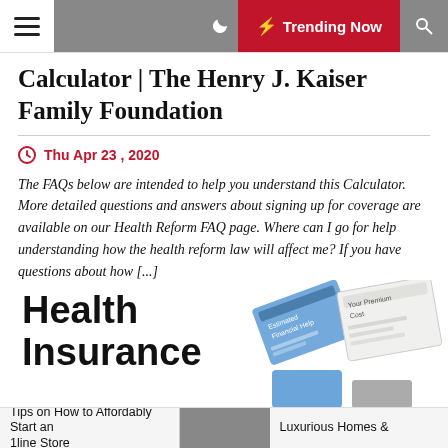Trending Now
Calculator | The Henry J. Kaiser Family Foundation
Thu Apr 23 , 2020
The FAQs below are intended to help you understand this Calculator. More detailed questions and answers about signing up for coverage are available on our Health Reform FAQ page. Where can I go for help understanding how the health reform law will affect me? If you have questions about how [...]
[Figure (illustration): Health Insurance promo with illustrated financial help and premium cost documents]
Tips on How to Affordably Start an 1line Store  |  Luxurious Homes &